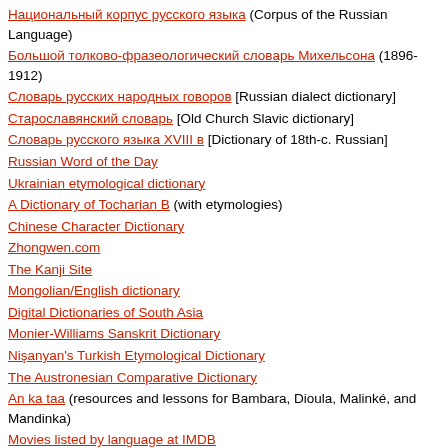Национальный корпус русского языка (Corpus of the Russian Language)
Большой толково-фразеологический словарь Михельсона (1896-1912)
Словарь русских народных говоров [Russian dialect dictionary]
Старославянский словарь [Old Church Slavic dictionary]
Словарь русского языка XVIII в [Dictionary of 18th-c. Russian]
Russian Word of the Day
Ukrainian etymological dictionary
A Dictionary of Tocharian B (with etymologies)
Chinese Character Dictionary
Zhongwen.com
The Kanji Site
Mongolian/English dictionary
Digital Dictionaries of South Asia
Monier-Williams Sanskrit Dictionary
Nişanyan's Turkish Etymological Dictionary
The Austronesian Comparative Dictionary
An ka taa (resources and lessons for Bambara, Dioula, Malinké, and Mandinka)
Movies listed by language at IMDB
Languages online